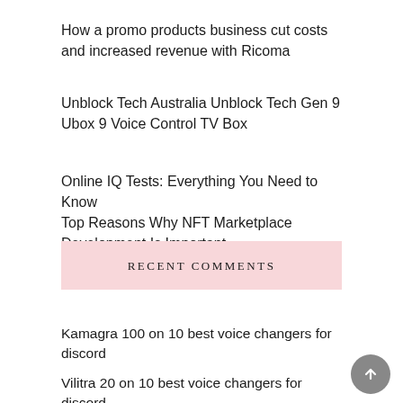How a promo products business cut costs and increased revenue with Ricoma
Unblock Tech Australia Unblock Tech Gen 9 Ubox 9 Voice Control TV Box
Online IQ Tests: Everything You Need to Know
Top Reasons Why NFT Marketplace Development Is Important
RECENT COMMENTS
Kamagra 100 on 10 best voice changers for discord
Vilitra 20 on 10 best voice changers for discord